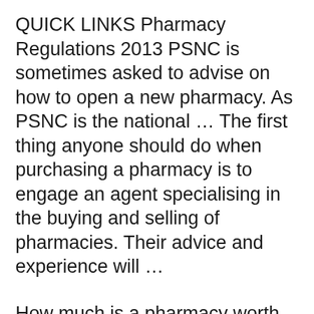QUICK LINKS Pharmacy Regulations 2013 PSNC is sometimes asked to advise on how to open a new pharmacy. As PSNC is the national … The first thing anyone should do when purchasing a pharmacy is to engage an agent specialising in the buying and selling of pharmacies. Their advice and experience will …
How much is a pharmacy worth 'how much would I get for my pharmacy?' or if we are acting for a buyer it'll be 'how much would it cost me to buy a pharmacy 2011-07-08 · I am a Pharmacist with 10 years of experience, i need advice on getting a loan to purchase an existing pharmacy.